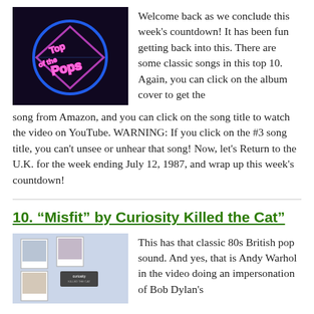[Figure (photo): Top of the Pops neon logo on dark background]
Welcome back as we conclude this week's countdown! It has been fun getting back into this. There are some classic songs in this top 10. Again, you can click on the album cover to get the song from Amazon, and you can click on the song title to watch the video on YouTube. WARNING: If you click on the #3 song title, you can't unsee or unhear that song! Now, let's Return to the U.K. for the week ending July 12, 1987, and wrap up this week's countdown!
10. “Misfit” by Curiosity Killed the Cat”
[Figure (photo): Album cover for Curiosity Killed the Cat - Keep Your Distance]
This has that classic 80s British pop sound. And yes, that is Andy Warhol in the video doing an impersonation of Bob Dylan's